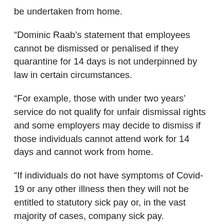be undertaken from home.
“Dominic Raab’s statement that employees cannot be dismissed or penalised if they quarantine for 14 days is not underpinned by law in certain circumstances.
“For example, those with under two years’ service do not qualify for unfair dismissal rights and some employers may decide to dismiss if those individuals cannot attend work for 14 days and cannot work from home.
“If individuals do not have symptoms of Covid-19 or any other illness then they will not be entitled to statutory sick pay or, in the vast majority of cases, company sick pay.
“This unfortunately leaves employers in a position where, if roles cannot be undertaken from home, they must decide whether to exercise their discretion to pay employees and company sick time or face…